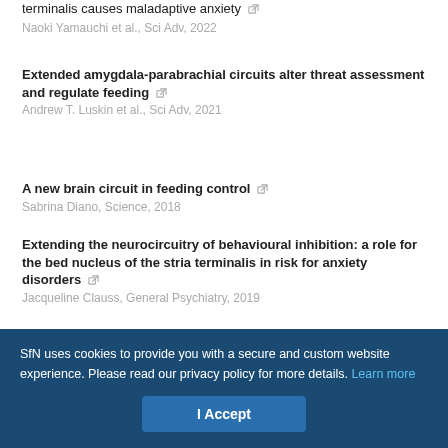terminalis causes maladaptive anxiety [external link]
Naoki Yamauchi et al., Sci Adv, 2022
Extended amygdala-parabrachial circuits alter threat assessment and regulate feeding [external link]
Andrew T. Luskin et al., Sci Adv, 2021
A new brain circuit in feeding control [external link]
Sabrina Diano, Science, 2018
Extending the neurocircuitry of behavioural inhibition: a role for the bed nucleus of the stria terminalis in risk for anxiety disorders [external link]
Jacqueline Clauss, General Psychiatry, 2019
Powered by TREND MD
SfN uses cookies to provide you with a secure and custom website experience. Please read our privacy policy for more details. Learn more
I Accept